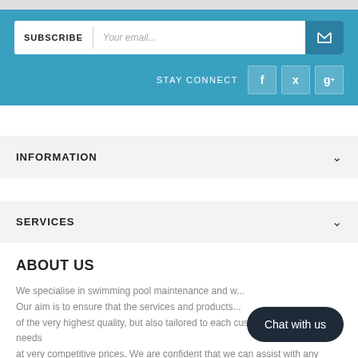SUBSCRIBE
Your email...
STAY CONNECT
INFORMATION
SERVICES
ABOUT US
We specialise in swimming pool maintenance and w... Our aim is to ensure that the services and products... of the very highest quality, but also tailored to each customer's specific needs at very competitive prices. We are confident that we can assist with any
Chat with us